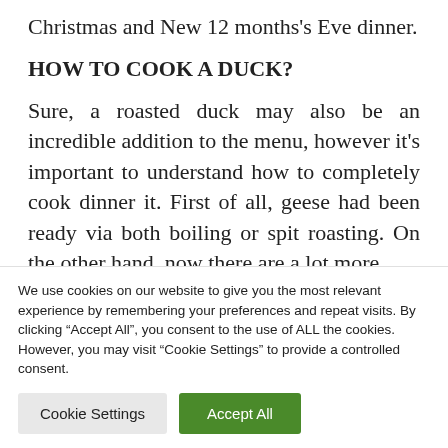Christmas and New 12 months's Eve dinner.
HOW TO COOK A DUCK?
Sure, a roasted duck may also be an incredible addition to the menu, however it's important to understand how to completely cook dinner it. First of all, geese had been ready via both boiling or spit roasting. On the other hand, now there are a lot more
We use cookies on our website to give you the most relevant experience by remembering your preferences and repeat visits. By clicking “Accept All”, you consent to the use of ALL the cookies. However, you may visit “Cookie Settings” to provide a controlled consent.
Cookie Settings | Accept All